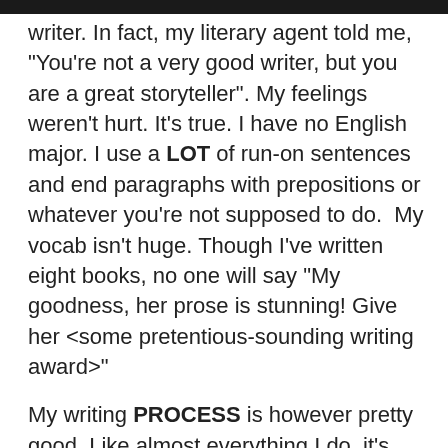writer. In fact, my literary agent told me, "You're not a very good writer, but you are a great storyteller". My feelings weren't hurt. It's true. I have no English major. I use a LOT of run-on sentences and end paragraphs with prepositions or whatever you're not supposed to do.  My vocab isn't huge. Though I've written eight books, no one will say “My goodness, her prose is stunning! Give her <some pretentious-sounding writing award>"
My writing PROCESS is however pretty good. Like almost everything I do, it's engineered down to a framework. I can